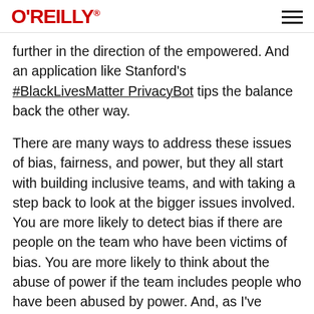O'REILLY
further in the direction of the empowered. And an application like Stanford's #BlackLivesMatter PrivacyBot tips the balance back the other way.
There are many ways to address these issues of bias, fairness, and power, but they all start with building inclusive teams, and with taking a step back to look at the bigger issues involved. You are more likely to detect bias if there are people on the team who have been victims of bias. You are more likely to think about the abuse of power if the team includes people who have been abused by power. And, as I've argued elsewhere, the job of “programming” is becoming less about writing code, and more about understanding the nature of the problem to be solved. In the future, machines will a lot of code for us. Our task will be deciding what the software should do, not putting our heads down and